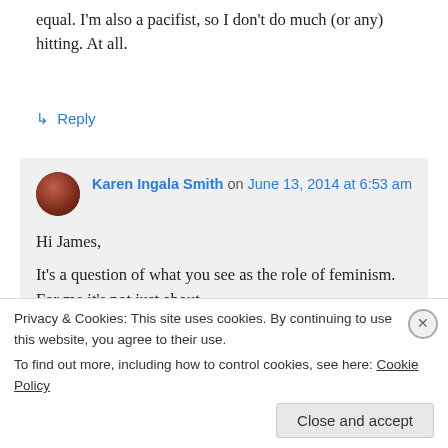equal. I'm also a pacifist, so I don't do much (or any) hitting. At all.
↳ Reply
Karen Ingala Smith on June 13, 2014 at 6:53 am
Hi James,
It's a question of what you see as the role of feminism. For me it's not just about achieving equality with the liberation of
Privacy & Cookies: This site uses cookies. By continuing to use this website, you agree to their use.
To find out more, including how to control cookies, see here: Cookie Policy
Close and accept